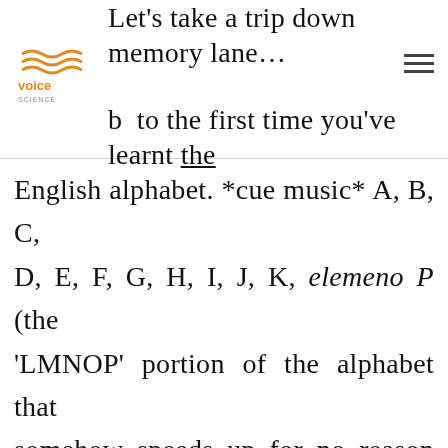Let's take a trip down memory lane… back to the first time you've learnt the
[Figure (logo): Voice Science logo — orange wavy lines above text 'voice science']
English alphabet. *cue music* A, B, C, D, E, F, G, H, I, J, K, elemeno P (the 'LMNOP' portion of the alphabet that somehow speeds up for no reason 😁)… and it goes on. We're sure that this is sounds all too familiar, in other words, '熟能生巧' (ěr shú néng xiáng)! You may have thought at one point – 'that's easy,